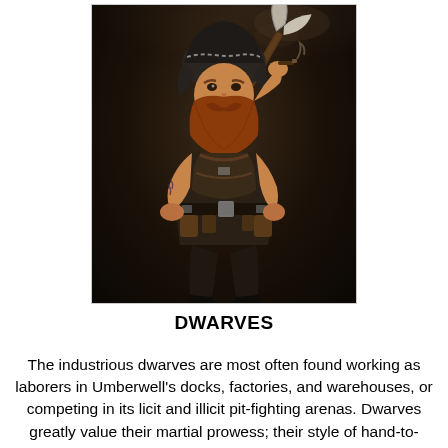[Figure (illustration): Fantasy illustration of a stout, muscular dwarf character with a red beard, wearing a dark hooded cap and heavy leather/armor gear with many pouches and buckles. He carries a large pickaxe or axe on his back and holds something in one raised hand near his mouth. The background is dark brown/black with smoke effects.]
DWARVES
The industrious dwarves are most often found working as laborers in Umberwell's docks, factories, and warehouses, or competing in its licit and illicit pit-fighting arenas. Dwarves greatly value their martial prowess; their style of hand-to-hand combat is